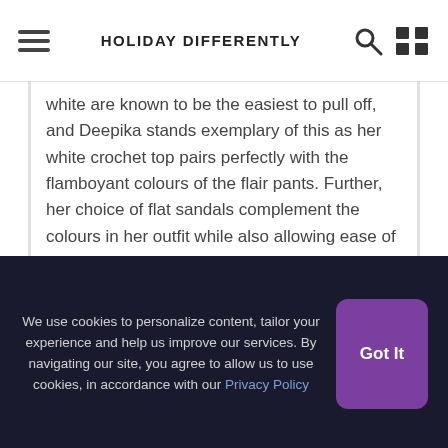HOLIDAY DIFFERENTLY
white are known to be the easiest to pull off, and Deepika stands exemplary of this as her white crochet top pairs perfectly with the flamboyant colours of the flair pants. Further, her choice of flat sandals complement the colours in her outfit while also allowing ease of walking. Stylish and comfy, this outfit is a good choice if you're heading for a long flight or travel.
Daughter Bhatt's Dungarees
We use cookies to personalize content, tailor your experience and help us improve our services. By navigating our site, you agree to allow us to use cookies, in accordance with our Privacy Policy